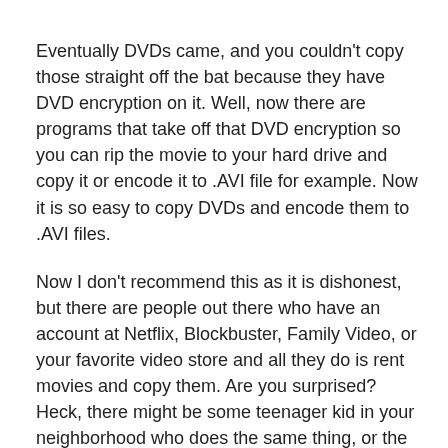Eventually DVDs came, and you couldn't copy those straight off the bat because they have DVD encryption on it. Well, now there are programs that take off that DVD encryption so you can rip the movie to your hard drive and copy it or encode it to .AVI file for example. Now it is so easy to copy DVDs and encode them to .AVI files.
Now I don't recommend this as it is dishonest, but there are people out there who have an account at Netflix, Blockbuster, Family Video, or your favorite video store and all they do is rent movies and copy them. Are you surprised? Heck, there might be some teenager kid in your neighborhood who does the same thing, or the equivalent by downloading movies and archiving them in some secret hard drive, along the tens on DVD bin.